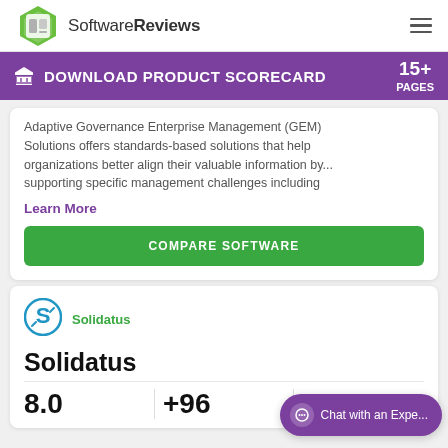SoftwareReviews
DOWNLOAD PRODUCT SCORECARD 15+ PAGES
Adaptive Governance Enterprise Management (GEM) Solutions offers standards-based solutions that help organizations better align their valuable information by... supporting specific management challenges including
Learn More
COMPARE SOFTWARE
[Figure (logo): Solidatus logo: circular icon with S arrow symbol in blue/teal]
Solidatus
Solidatus